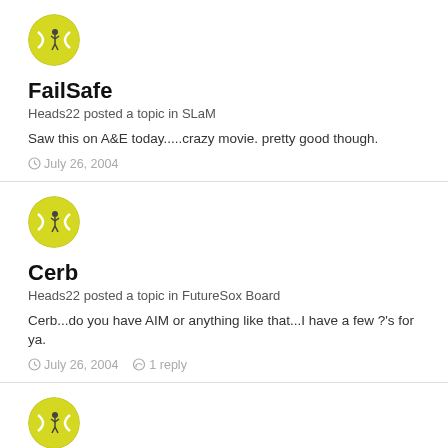[Figure (illustration): Round avatar image of a yellow tennis ball with a cartoon figure on it]
FailSafe
Heads22 posted a topic in SLaM
Saw this on A&E today.....crazy movie. pretty good though.
July 26, 2004
[Figure (illustration): Round avatar image of a yellow tennis ball with a cartoon figure on it]
Cerb
Heads22 posted a topic in FutureSox Board
Cerb...do you have AIM or anything like that...I have a few ?'s for ya.
July 26, 2004   1 reply
[Figure (illustration): Round avatar image of a yellow tennis ball with a cartoon figure on it (partially visible)]